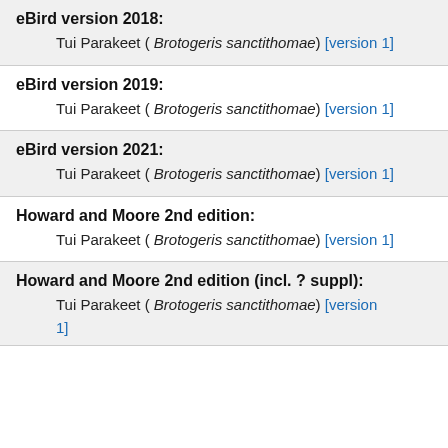eBird version 2018:
Tui Parakeet ( Brotogeris sanctithomae) [version 1]
eBird version 2019:
Tui Parakeet ( Brotogeris sanctithomae) [version 1]
eBird version 2021:
Tui Parakeet ( Brotogeris sanctithomae) [version 1]
Howard and Moore 2nd edition:
Tui Parakeet ( Brotogeris sanctithomae) [version 1]
Howard and Moore 2nd edition (incl. ? suppl):
Tui Parakeet ( Brotogeris sanctithomae) [version 1]